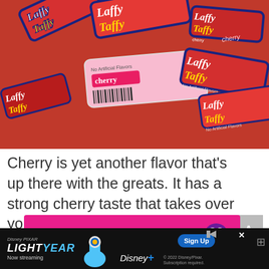[Figure (photo): Multiple red Laffy Taffy cherry-flavored candy wrappers scattered together, showing the Laffy Taffy logo and 'cherry' text, with one pink wrapper visible among the red ones.]
Cherry is yet another flavor that's up there with the greats. It has a strong cherry taste that takes over your tastebuds.
[Figure (infographic): Pink advertisement banner reading 'Blood Pressure is serious' with a purple heart icon with lines through it.]
[Figure (infographic): Black banner advertisement for Disney Pixar's Lightyear movie showing 'Now streaming' with Disney+ logo and a Sign Up button.]